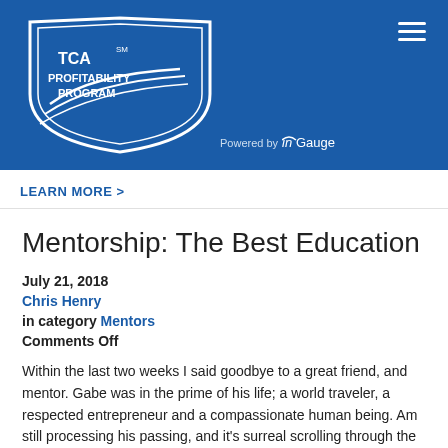[Figure (logo): TCA Profitability Program logo with shield shape and road graphic, white on blue background, with 'Powered by InGauge' text]
LEARN MORE >
Mentorship: The Best Education
July 21, 2018
Chris Henry
in category Mentors
Comments Off
Within the last two weeks I said goodbye to a great friend, and mentor. Gabe was in the prime of his life; a world traveler, a respected entrepreneur and a compassionate human being. Am still processing his passing, and it's surreal scrolling through the many